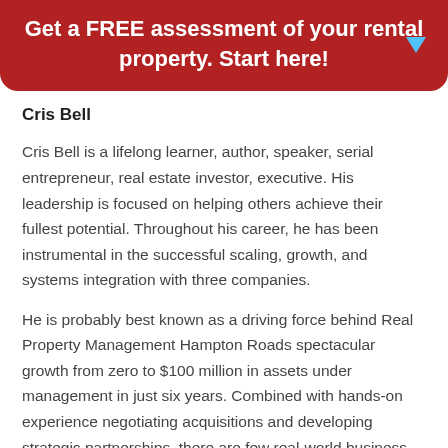Get a FREE assessment of your rental property. Start here!
Cris Bell
Cris Bell is a lifelong learner, author, speaker, serial entrepreneur, real estate investor, executive. His leadership is focused on helping others achieve their fullest potential. Throughout his career, he has been instrumental in the successful scaling, growth, and systems integration with three companies.
He is probably best known as a driving force behind Real Property Management Hampton Roads spectacular growth from zero to $100 million in assets under management in just six years. Combined with hands-on experience negotiating acquisitions and developing strategic partnerships, there are few real-world business challenges Cris hasn't faced.